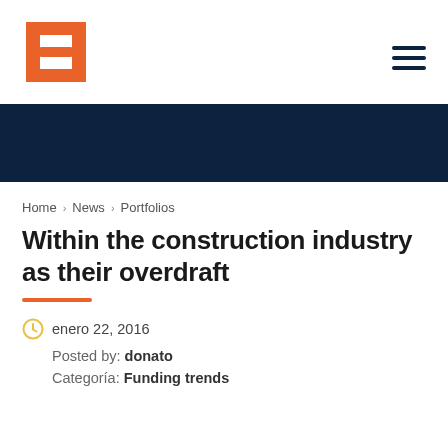[Figure (logo): Orange H-like construction logo mark]
Home > News > Portfolios
Within the construction industry as their overdraft
enero 22, 2016
Posted by: donato
Categoría: Funding trends